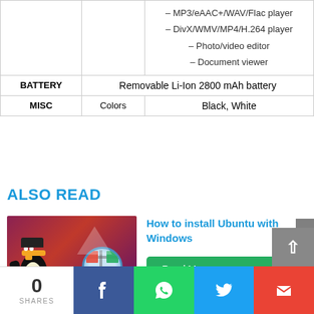|  |  | – MP3/eAAC+/WAV/Flac player
– DivX/WMV/MP4/H.264 player
– Photo/video editor
– Document viewer |
| BATTERY |  | Removable Li-Ion 2800 mAh battery |
| MISC | Colors | Black, White |
ALSO READ
[Figure (photo): Image showing Linux Tux penguin mascot alongside Windows logo on a red/purple background, representing Ubuntu and Windows dual boot]
How to install Ubuntu with Windows
Read More
0 SHARES | Facebook | WhatsApp | Twitter | Gmail